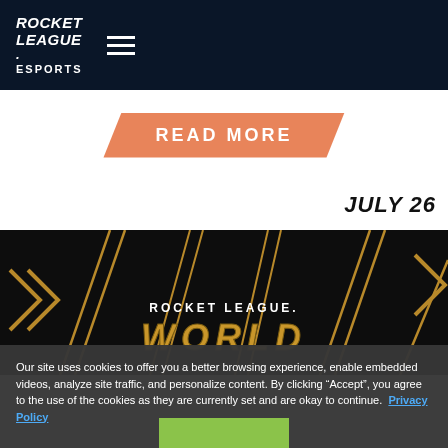ROCKET LEAGUE. ESPORTS
READ MORE
JULY 26
[Figure (screenshot): Rocket League World Championship promotional graphic with gold geometric lines on dark background, showing 'ROCKET LEAGUE.' text and 'WORLD' text in gold below]
Our site uses cookies to offer you a better browsing experience, enable embedded videos, analyze site traffic, and personalize content. By clicking “Accept”, you agree to the use of the cookies as they are currently set and are okay to continue. Privacy Policy